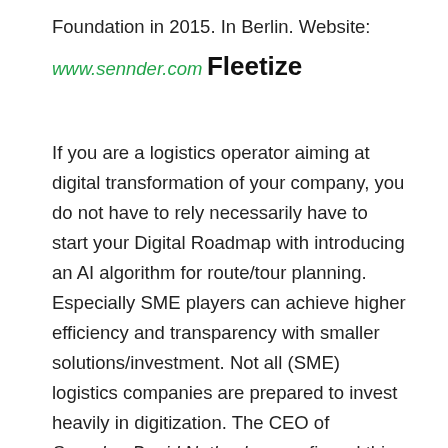Foundation in 2015. In Berlin. Website:
www.sennder.com
Fleetize
If you are a logistics operator aiming at digital transformation of your company, you do not have to rely necessarily have to start your Digital Roadmap with introducing an AI algorithm for route/tour planning. Especially SME players can achieve higher efficiency and transparency with smaller solutions/investment. Not all (SME) logistics companies are prepared to invest heavily in digitization. The CEO of Sennder, David Nothacker, confirmed this recently in an interview: “The small